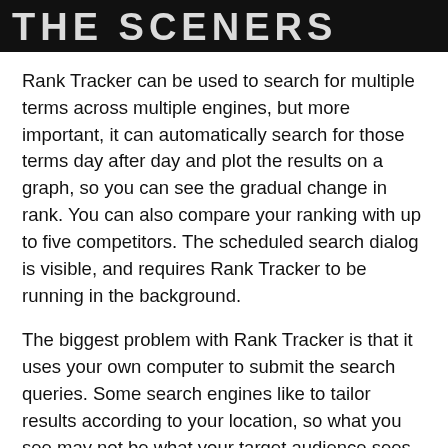[Figure (other): Dark banner header with large bold white text reading 'THE SCENERS' or similar title in caps]
Rank Tracker can be used to search for multiple terms across multiple engines, but more important, it can automatically search for those terms day after day and plot the results on a graph, so you can see the gradual change in rank. You can also compare your ranking with up to five competitors. The scheduled search dialog is visible, and requires Rank Tracker to be running in the background.
The biggest problem with Rank Tracker is that it uses your own computer to submit the search queries. Some search engines like to tailor results according to your location, so what you see may not be what your target audience sees. You can ameliorate this by searching location-specific editions, but still, you should take the results with a